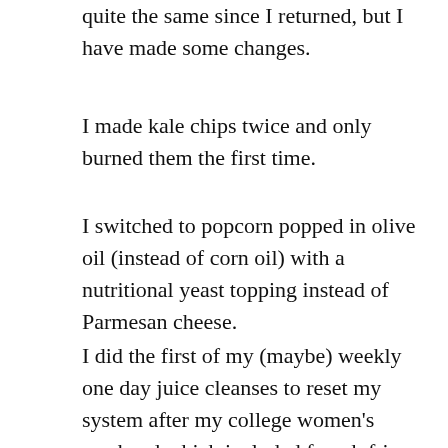quite the same since I returned, but I have made some changes.
I made kale chips twice and only burned them the first time.
I switched to popcorn popped in olive oil (instead of corn oil) with a nutritional yeast topping instead of Parmesan cheese.
I did the first of my (maybe) weekly one day juice cleanses to reset my system after my college women's weekend which included french fries, non organic turkey sausage and not free range eggs, pasta (whole wheat!), wine, and some super yummy deserts.